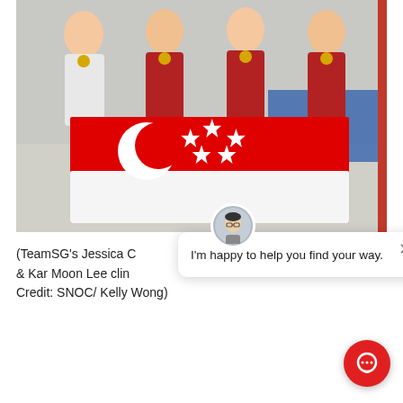[Figure (photo): Four young women in Singapore national sports uniforms holding the Singapore flag and medals/stuffed animal mascots, posing for a team photo. Text 'NHA' visible in background.]
(TeamSG's Jessica C & Kar Moon Lee clin Credit: SNOC/ Kelly Wong)